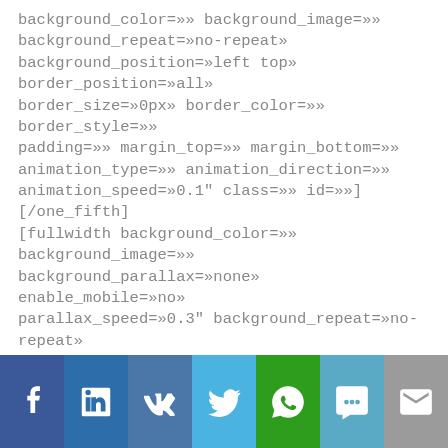background_color=»» background_image=»» background_repeat=»no-repeat» background_position=»left top» border_position=»all» border_size=»0px» border_color=»» border_style=»» padding=»» margin_top=»» margin_bottom=»» animation_type=»» animation_direction=»» animation_speed=»0.1" class=»» id=»»][/one_fifth] [fullwidth background_color=»» background_image=»» background_parallax=»none» enable_mobile=»no» parallax_speed=»0.3" background_repeat=»no-repeat» background_position=»left top» video_url=»» video_aspect_ratio=»16:9" video_webm=»» video_mp4=»» video_ogv=»» video_preview_image=»» overlay_color=»» overlay_opacity=»0.5" video_mute=»yes» video_loop=»yes» fade=»no» border_size=»0px» border_color=»» border_style=»» padding_top=»30px» padding_bottom=»30px»